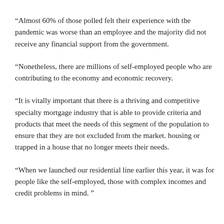“Almost 60% of those polled felt their experience with the pandemic was worse than an employee and the majority did not receive any financial support from the government.
“Nonetheless, there are millions of self-employed people who are contributing to the economy and economic recovery.
“It is vitally important that there is a thriving and competitive specialty mortgage industry that is able to provide criteria and products that meet the needs of this segment of the population to ensure that they are not excluded from the market. housing or trapped in a house that no longer meets their needs.
“When we launched our residential line earlier this year, it was for people like the self-employed, those with complex incomes and credit problems in mind. ”